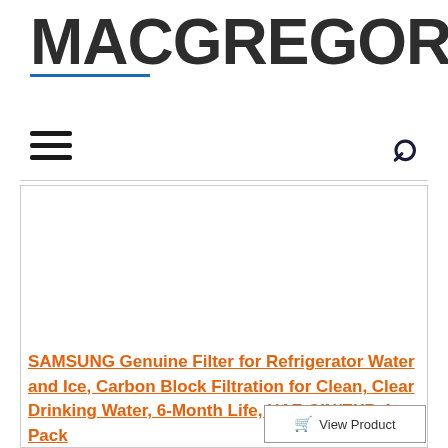[Figure (logo): MACGREGOR26 logo in bold dark gray text with blue underline accent beneath MACGREGOR]
[Figure (other): Navigation bar with hamburger menu icon on left and search magnifying glass icon on right]
[Figure (other): Product image area - white/blank area inside bordered content box]
SAMSUNG Genuine Filter for Refrigerator Water and Ice, Carbon Block Filtration for Clean, Clear Drinking Water, 6-Month Life, HAF-CIN/EXP, 1 Pack
View Product